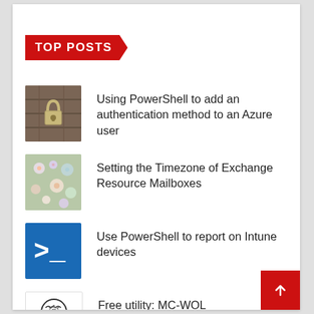TOP POSTS
Using PowerShell to add an authentication method to an Azure user
Setting the Timezone of Exchange Resource Mailboxes
Use PowerShell to report on Intune devices
Free utility: MC-WOL
Automatic creation of user folders for home, roaming profile and redirected folders.